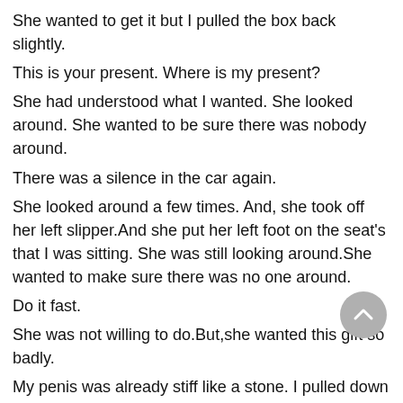She wanted to get it but I pulled the box back slightly.
This is your present. Where is my present?
She had understood what I wanted. She looked around. She wanted to be sure there was nobody around.
There was a silence in the car again.
She looked around a few times. And, she took off her left slipper.And she put her left foot on the seat's that I was sitting. She was still looking around.She wanted to make sure there was no one around.
Do it fast.
She was not willing to do.But,she wanted this gift so badly.
My penis was already stiff like a stone. I pulled down my pants and shorts quickly.She was keeping her naked left foot on the seat while I was pulling my pants down.
She didn't even look at my penis.She was looking around with his eyes.
Although my penis was not big I noticed that it was first time